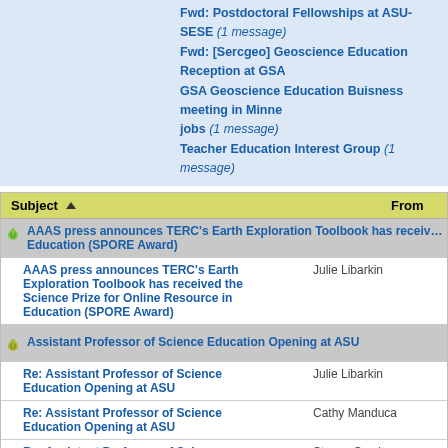Fwd: Postdoctoral Fellowships at ASU-SESE (1 message)
Fwd: [Sercgeo] Geoscience Education Reception at GSA
GSA Geoscience Education Buisness meeting in Minnesota jobs (1 message)
Teacher Education Interest Group (1 message)
| Subject | From |
| --- | --- |
| AAAS press announces TERC's Earth Exploration Toolbook has received the Science Prize for Online Resource in Education (SPORE Award) |  |
| AAAS press announces TERC's Earth Exploration Toolbook has received the Science Prize for Online Resource in Education (SPORE Award) | Julie Libarkin |
| Assistant Professor of Science Education Opening at ASU |  |
| Re: Assistant Professor of Science Education Opening at ASU | Julie Libarkin |
| Re: Assistant Professor of Science Education Opening at ASU | Cathy Manduca |
| Re: Assistant Professor of Science Education Opening at ASU | Steven Semken |
| Re: Assistant Professor of Science Education Opening at ASU | Steven Semken |
| Re: Assistant Professor of Science Education Opening at ASU | Annia Fayon |